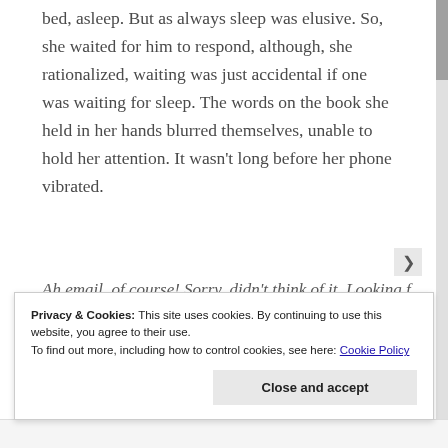bed, asleep. But as always sleep was elusive. So, she waited for him to respond, although, she rationalized, waiting was just accidental if one was waiting for sleep. The words on the book she held in her hands blurred themselves, unable to hold her attention. It wasn't long before her phone vibrated.
Ah email, of course! Sorry, didn't think of it. Looking f...
Privacy & Cookies: This site uses cookies. By continuing to use this website, you agree to their use.
To find out more, including how to control cookies, see here: Cookie Policy
Close and accept